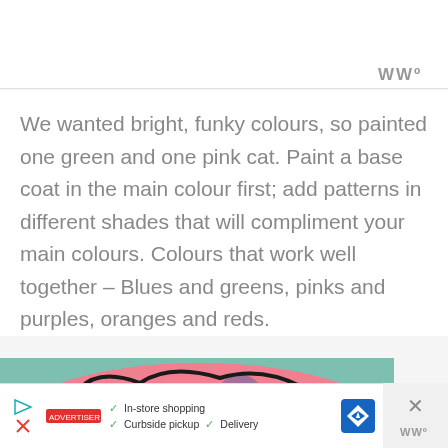[Figure (screenshot): Top navigation bar area of a web page, white background with WW logo icon (three W letters) in gray on the right side.]
We wanted bright, funky colours, so painted one green and one pink cat. Paint a base coat in the main colour first; add patterns in different shades that will compliment your main colours. Colours that work well together – Blues and greens, pinks and purples, oranges and reds.
[Figure (photo): Bottom portion of a painted pink cat with purple and black patterns on a teal background, partially visible.]
[Figure (screenshot): Advertisement bar at the bottom showing In-store shopping, Curbside pickup, and Delivery options with checkmarks and a blue navigation arrow icon. A close button with WW logo is shown on the right.]